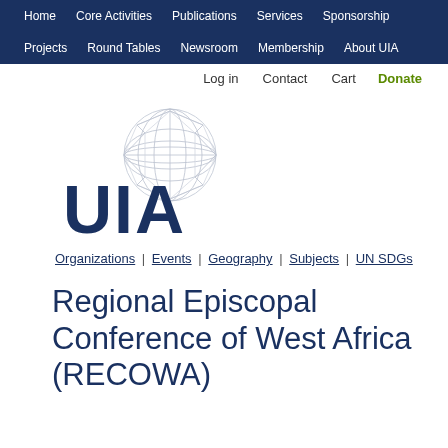Home | Core Activities | Publications | Services | Sponsorship | Projects | Round Tables | Newsroom | Membership | About UIA
Log in | Contact | Cart | Donate
[Figure (logo): UIA logo: wireframe globe above large blue UIA lettering]
Organizations | Events | Geography | Subjects | UN SDGs
Regional Episcopal Conference of West Africa (RECOWA)